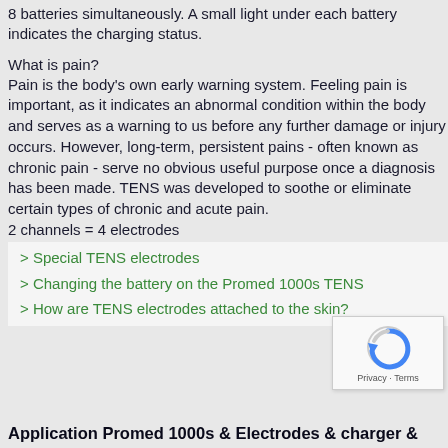8 batteries simultaneously. A small light under each battery indicates the charging status.
What is pain?
Pain is the body's own early warning system. Feeling pain is important, as it indicates an abnormal condition within the body and serves as a warning to us before any further damage or injury occurs. However, long-term, persistent pains - often known as chronic pain - serve no obvious useful purpose once a diagnosis has been made. TENS was developed to soothe or eliminate certain types of chronic and acute pain.
2 channels = 4 electrodes
> Special TENS electrodes
> Changing the battery on the Promed 1000s TENS
> How are TENS electrodes attached to the skin?
Application Promed 1000s & Electrodes & charger &